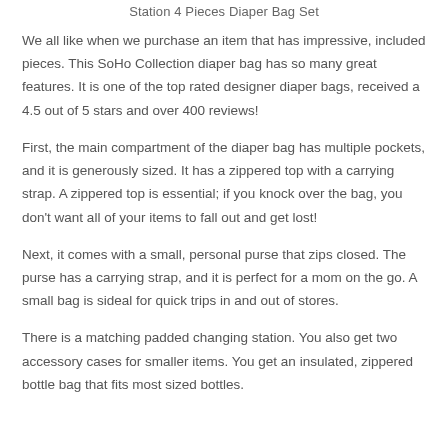Station 4 Pieces Diaper Bag Set
We all like when we purchase an item that has impressive, included pieces. This SoHo Collection diaper bag has so many great features. It is one of the top rated designer diaper bags, received a 4.5 out of 5 stars and over 400 reviews!
First, the main compartment of the diaper bag has multiple pockets, and it is generously sized. It has a zippered top with a carrying strap. A zippered top is essential; if you knock over the bag, you don't want all of your items to fall out and get lost!
Next, it comes with a small, personal purse that zips closed. The purse has a carrying strap, and it is perfect for a mom on the go. A small bag is sideal for quick trips in and out of stores.
There is a matching padded changing station. You also get two accessory cases for smaller items. You get an insulated, zippered bottle bag that fits most sized bottles.